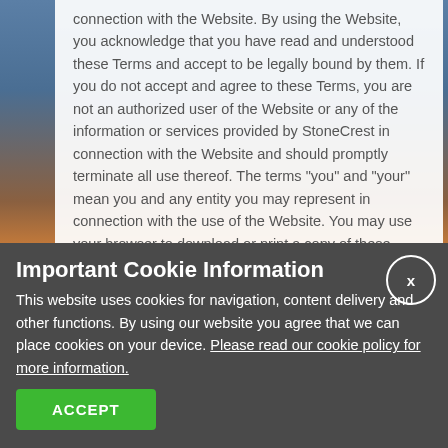connection with the Website. By using the Website, you acknowledge that you have read and understood these Terms and accept to be legally bound by them. If you do not accept and agree to these Terms, you are not an authorized user of the Website or any of the information or services provided by StoneCrest in connection with the Website and should promptly terminate all use thereof. The terms “you” and “your” mean you and any entity you may represent in connection with the use of the Website. You may use your browser to download or print a copy of these Terms for your records.
StoneCrest reserves the right to change, modify, add or remove portions of these Terms at any time for any reason. We suggest that you review these Terms periodically for changes. Such changes
Important Cookie Information
This website uses cookies for navigation, content delivery and other functions. By using our website you agree that we can place cookies on your device. Please read our cookie policy for more information.